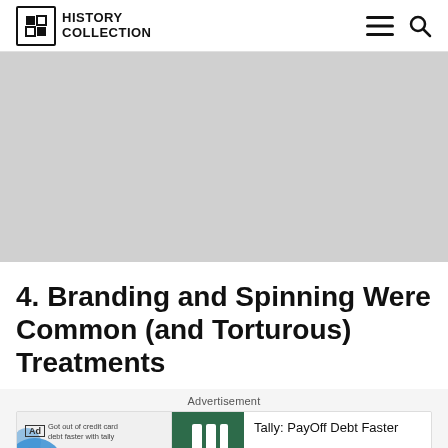History Collection
[Figure (photo): Large gray placeholder image block]
4. Branding and Spinning Were Common (and Torturous) Treatments
Advertisement
[Figure (other): Ad banner: Tally: PayOff Debt Faster — Download]